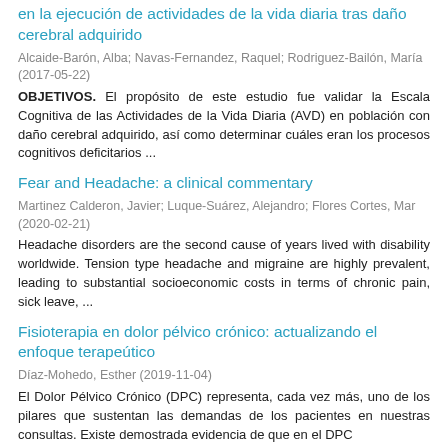en la ejecución de actividades de la vida diaria tras daño cerebral adquirido
Alcaide-Barón, Alba; Navas-Fernandez, Raquel; Rodriguez-Bailón, María (2017-05-22)
OBJETIVOS. El propósito de este estudio fue validar la Escala Cognitiva de las Actividades de la Vida Diaria (AVD) en población con daño cerebral adquirido, así como determinar cuáles eran los procesos cognitivos deficitarios ...
Fear and Headache: a clinical commentary
Martinez Calderon, Javier; Luque-Suárez, Alejandro; Flores Cortes, Mar (2020-02-21)
Headache disorders are the second cause of years lived with disability worldwide. Tension type headache and migraine are highly prevalent, leading to substantial socioeconomic costs in terms of chronic pain, sick leave, ...
Fisioterapia en dolor pélvico crónico: actualizando el enfoque terapeútico
Díaz-Mohedo, Esther (2019-11-04)
El Dolor Pélvico Crónico (DPC) representa, cada vez más, uno de los pilares que sustentan las demandas de los pacientes en nuestras consultas. Existe demostrada evidencia de que en el DPC